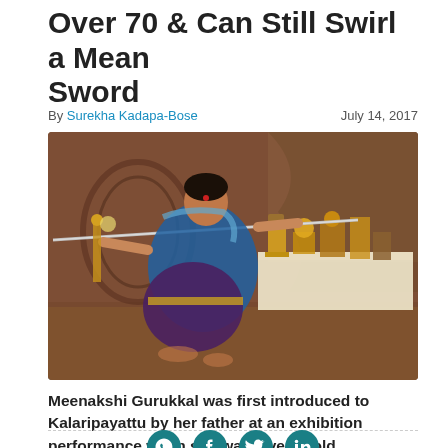Over 70 & Can Still Swirl a Mean Sword
By Surekha Kadapa-Bose    July 14, 2017
[Figure (photo): An elderly woman in a blue and purple saree in a low stance, holding a long sword horizontally with both hands outstretched, in a traditional Indian hall with trophies and awards on a table in the background.]
Meenakshi Gurukkal was first introduced to Kalaripayattu by her father at an exhibition performance when she was 7 years old.
[Figure (infographic): Social sharing icons for WhatsApp, Facebook, Twitter, and LinkedIn in teal circles at the bottom of the page.]